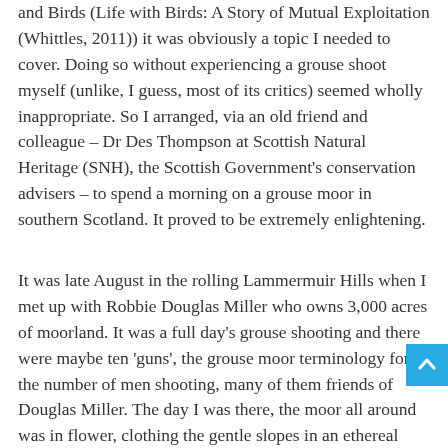and Birds (Life with Birds: A Story of Mutual Exploitation (Whittles, 2011)) it was obviously a topic I needed to cover. Doing so without experiencing a grouse shoot myself (unlike, I guess, most of its critics) seemed wholly inappropriate. So I arranged, via an old friend and colleague – Dr Des Thompson at Scottish Natural Heritage (SNH), the Scottish Government's conservation advisers – to spend a morning on a grouse moor in southern Scotland. It proved to be extremely enlightening.
It was late August in the rolling Lammermuir Hills when I met up with Robbie Douglas Miller who owns 3,000 acres of moorland. It was a full day's grouse shooting and there were maybe ten 'guns', the grouse moor terminology for the number of men shooting, many of them friends of Douglas Miller. The day I was there, the moor all around was in flower, clothing the gentle slopes in an ethereal purple haze. There were areas of lush green too, rushy w… streamsides and grassy banks, all of it appearing slightly translucent in the light drizzly rain that was showing no